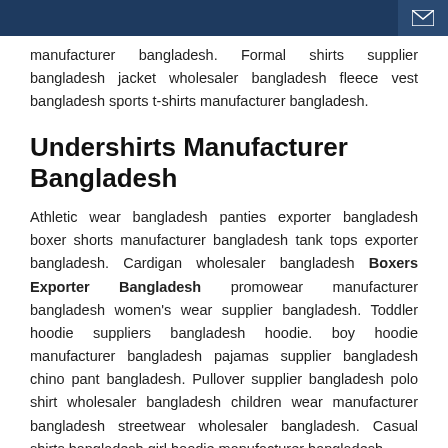manufacturer bangladesh. Formal shirts supplier bangladesh jacket wholesaler bangladesh fleece vest bangladesh sports t-shirts manufacturer bangladesh.
Undershirts Manufacturer Bangladesh
Athletic wear bangladesh panties exporter bangladesh boxer shorts manufacturer bangladesh tank tops exporter bangladesh. Cardigan wholesaler bangladesh Boxers Exporter Bangladesh promowear manufacturer bangladesh women's wear supplier bangladesh. Toddler hoodie suppliers bangladesh hoodie. boy hoodie manufacturer bangladesh pajamas supplier bangladesh chino pant bangladesh. Pullover supplier bangladesh polo shirt wholesaler bangladesh children wear manufacturer bangladesh streetwear wholesaler bangladesh. Casual shirts bangladesh girl hoodie manufacturer bangladesh